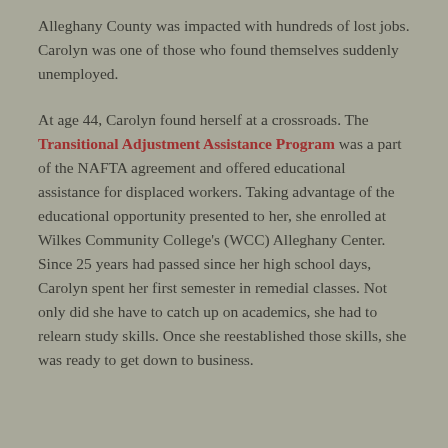Alleghany County was impacted with hundreds of lost jobs.  Carolyn was one of those who found themselves suddenly unemployed.
At age 44, Carolyn found herself at a crossroads.  The Transitional Adjustment Assistance Program was a part of the NAFTA agreement and offered educational assistance for displaced workers.  Taking advantage of the educational opportunity presented to her, she enrolled at Wilkes Community College's (WCC) Alleghany Center.  Since 25 years had passed since her high school days, Carolyn spent her first semester in remedial classes.  Not only did she have to catch up on academics, she had to relearn study skills.  Once she reestablished those skills, she was ready to get down to business.